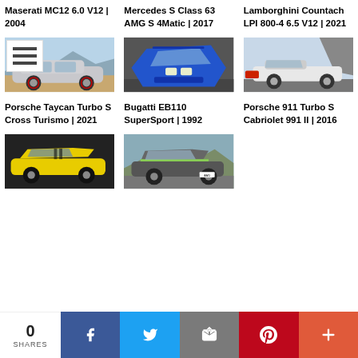Maserati MC12 6.0 V12 | 2004
Mercedes S Class 63 AMG S 4Matic | 2017
Lamborghini Countach LPI 800-4 6.5 V12 | 2021
[Figure (photo): Porsche Taycan Turbo S Cross Turismo side view, silver/grey, outdoor]
[Figure (photo): Bugatti EB110 SuperSport, blue, top-front view on tarmac]
[Figure (photo): Porsche 911 Turbo S Cabriolet 991 II, white, side view on road]
Porsche Taycan Turbo S Cross Turismo | 2021
Bugatti EB110 SuperSport | 1992
Porsche 911 Turbo S Cabriolet 991 II | 2016
[Figure (photo): Yellow sports car, dark/black background]
[Figure (photo): Grey Aston Martin on road, green stripe]
0 SHARES  [Facebook] [Twitter] [Email] [Pinterest] [More]